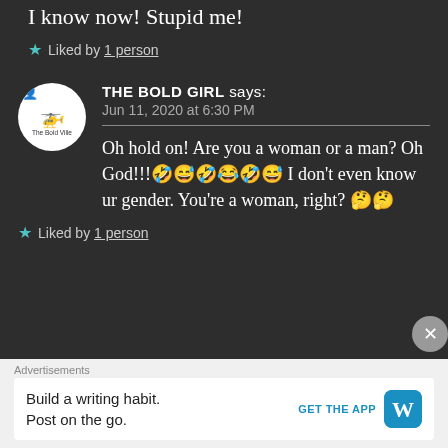I know now! Stupid me!
★ Liked by 1 person
THE BOLD GIRL says:
Jun 11, 2020 at 6:30 PM
Oh hold on! Are you a woman or a man? Oh God!!!🤣😅🤣😂🤣😅 I don't even know ur gender. You're a woman, right? 🤔🤔
★ Liked by 1 person
Advertisements
Build a writing habit. Post on the go. GET THE APP